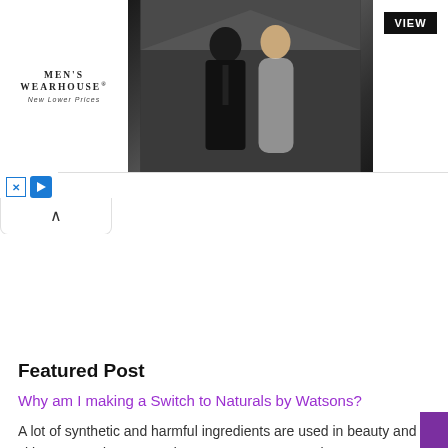[Figure (photo): Men's Wearhouse advertisement banner featuring a couple in formal wear and a man in a tuxedo, with a VIEW button]
Featured Post
Why am I making a Switch to Naturals by Watsons?
A lot of synthetic and harmful ingredients are used in beauty and skin care products nowadays. We are not aware but we